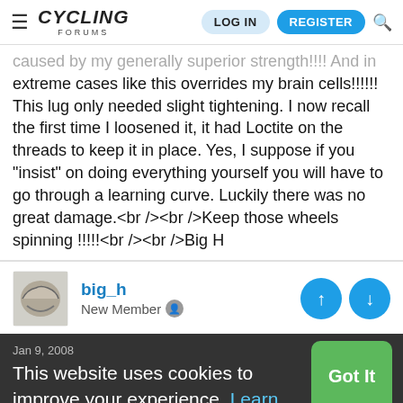≡ CYCLING FORUMS  LOG IN  REGISTER 🔍
caused by my generally superior strength!!!! And in extreme cases like this overrides my brain cells!!!!!! This lug only needed slight tightening. I now recall the first time I loosened it, it had Loctite on the threads to keep it in place. Yes, I suppose if you "insist" on doing everything yourself you will have to go through a learning curve. Luckily there was no great damage.<br /><br />Keep those wheels spinning !!!!!<br /><br />Big H
big_h
New Member
Jan 9, 2008
Hi Guys, I had it repaired by John Freeman (011-763 1410) who is the owner of Professional Cycle Emporium at Main Rd A Fore...
This website uses cookies to improve your experience. Learn More  Got It